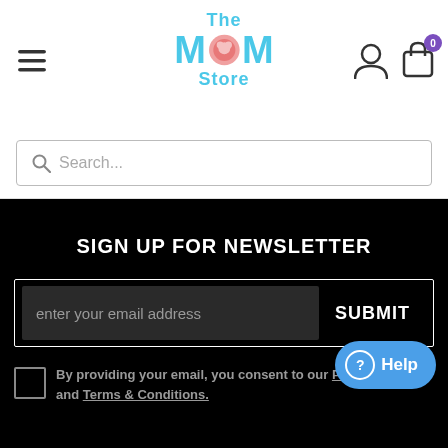[Figure (logo): The Mom Store logo with cyan/blue text and pink circle icon in the center of the M]
[Figure (screenshot): User account icon (person silhouette) in top right of header]
[Figure (screenshot): Shopping cart icon with purple badge showing 0]
Search...
SIGN UP FOR NEWSLETTER
enter your email address
SUBMIT
By providing your email, you consent to our Privacy Policy and Terms & Conditions.
Help